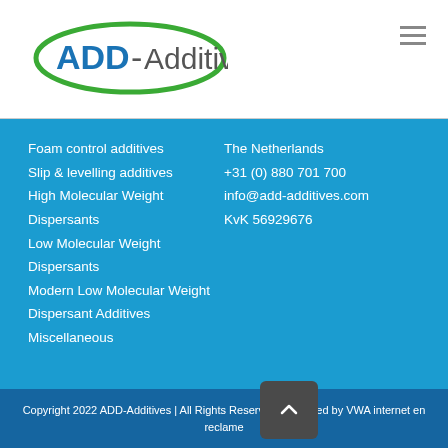[Figure (logo): ADD-Additives company logo: green oval outline encircling blue bold text ADD- and grey text Additives]
Foam control additives
Slip & levelling additives
High Molecular Weight Dispersants
Low Molecular Weight Dispersants
Modern Low Molecular Weight Dispersant Additives
Miscellaneous
The Netherlands
+31 (0) 880 701 700
info@add-additives.com
KvK 56929676
Copyright 2022 ADD-Additives | All Rights Reserved | Powered by VWA internet en reclame